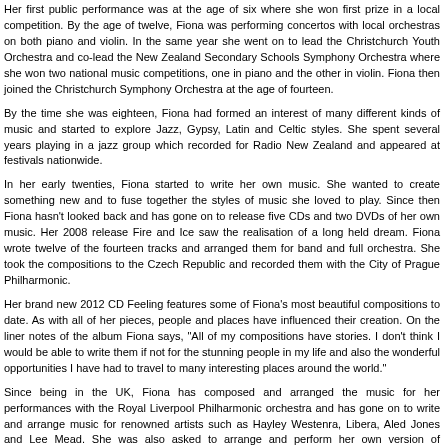Her first public performance was at the age of six where she won first prize in a local competition. By the age of twelve, Fiona was performing concertos with local orchestras on both piano and violin. In the same year she went on to lead the Christchurch Youth Orchestra and co-lead the New Zealand Secondary Schools Symphony Orchestra where she won two national music competitions, one in piano and the other in violin. Fiona then joined the Christchurch Symphony Orchestra at the age of fourteen.
By the time she was eighteen, Fiona had formed an interest of many different kinds of music and started to explore Jazz, Gypsy, Latin and Celtic styles. She spent several years playing in a jazz group which recorded for Radio New Zealand and appeared at festivals nationwide.
In her early twenties, Fiona started to write her own music. She wanted to create something new and to fuse together the styles of music she loved to play. Since then Fiona hasn't looked back and has gone on to release five CDs and two DVDs of her own music. Her 2008 release Fire and Ice saw the realisation of a long held dream. Fiona wrote twelve of the fourteen tracks and arranged them for band and full orchestra. She took the compositions to the Czech Republic and recorded them with the City of Prague Philharmonic.
Her brand new 2012 CD Feeling features some of Fiona's most beautiful compositions to date. As with all of her pieces, people and places have influenced their creation. On the liner notes of the album Fiona says, "All of my compositions have stories. I don't think I would be able to write them if not for the stunning people in my life and also the wonderful opportunities I have had to travel to many interesting places around the world."
Since being in the UK, Fiona has composed and arranged the music for her performances with the Royal Liverpool Philharmonic orchestra and has gone on to write and arrange music for renowned artists such as Hayley Westenra, Libera, Aled Jones and Lee Mead. She was also asked to arrange and perform her own version of Schindler's List for BBC television and her music videos have been played on Classic FM TV in the UK and Europe.
In recent years Fiona has toured extensively and has performed and recorded with artists such as Dave Dobbyn, Hayley Westenra, Bic Runga, Heather Nova and the Christchurch Symphony Orchestra. She has also opened for artists such as Tony Bennett, Ottmar Liebert and the late Victor Bourge.
Fiona Pears: Violin, Mike Ferrar: Guitar, Ian Tilley: Piano, Pete Fleming: Bass.